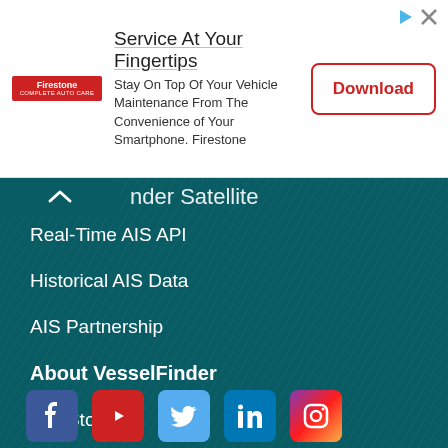[Figure (screenshot): Firestone app advertisement banner with logo, text, and Download button]
Service At Your Fingertips
Stay On Top Of Your Vehicle Maintenance From The Convenience of Your Smartphone. Firestone
nder Satellite
Real-Time AIS API
Historical AIS Data
AIS Partnership
About VesselFinder
Our Story
Contact us
Terms of Use
Privacy Policy
[Figure (illustration): Social media icons row: Facebook, YouTube, Twitter, LinkedIn, Instagram]